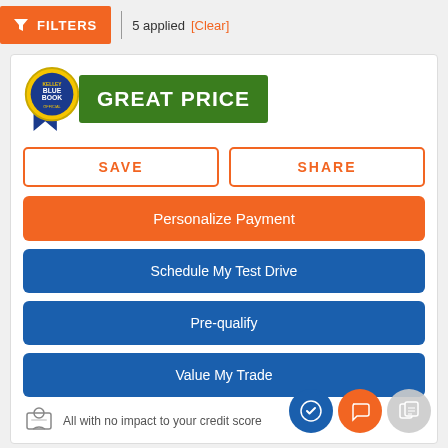FILTERS | 5 applied [Clear]
[Figure (logo): Kelley Blue Book medal logo with 'GREAT PRICE' green banner]
SAVE
SHARE
Personalize Payment
Schedule My Test Drive
Pre-qualify
Value My Trade
All with no impact to your credit score